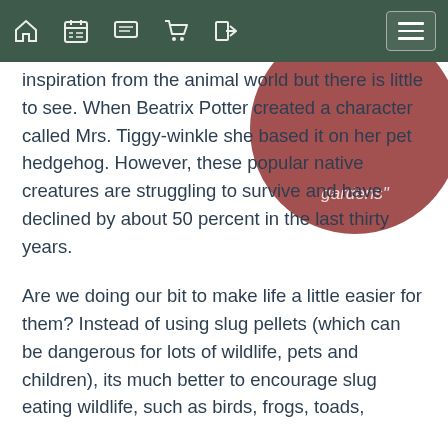[Navigation bar with home, calendar, chat, cart, login icons and hamburger menu]
[Figure (illustration): Partial view of a dark rose/mauve colored circle containing italic text 'gardens"' — appears to be a pull quote circle element]
inspiration from the animal world but there is little to see. When Beatrix Potter created a character called Mrs. Tiggy-winkle she based it on her pet hedgehog. However, these popular native creatures are struggling to survive and have declined by about 50 percent in the last thirty years.
Are we doing our bit to make life a little easier for them? Instead of using slug pellets (which can be dangerous for lots of wildlife, pets and children), its much better to encourage slug eating wildlife, such as birds, frogs, toads,